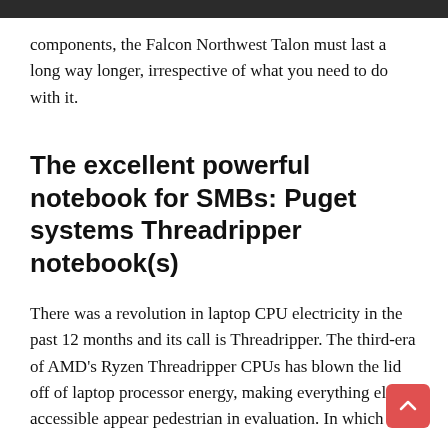components, the Falcon Northwest Talon must last a long way longer, irrespective of what you need to do with it.
The excellent powerful notebook for SMBs: Puget systems Threadripper notebook(s)
There was a revolution in laptop CPU electricity in the past 12 months and its call is Threadripper. The third-era of AMD's Ryzen Threadripper CPUs has blown the lid off of laptop processor energy, making everything else accessible appear pedestrian in evaluation. In which